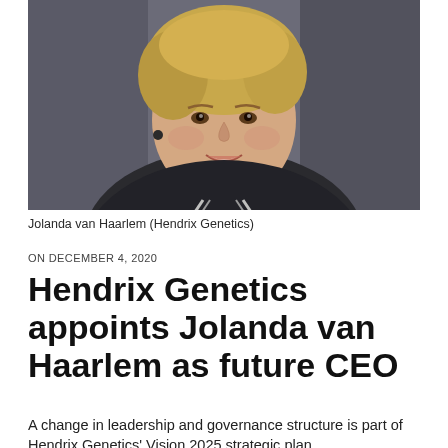[Figure (photo): Portrait photo of Jolanda van Haarlem, a blond woman smiling, wearing a dark jacket with a white striped collar, against a dark grey background.]
Jolanda van Haarlem (Hendrix Genetics)
ON DECEMBER 4, 2020
Hendrix Genetics appoints Jolanda van Haarlem as future CEO
A change in leadership and governance structure is part of Hendrix Genetics' Vision 2025 strategic plan